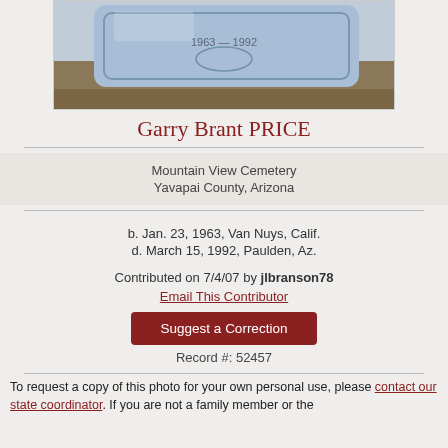[Figure (photo): Photograph of a gravestone/headstone at Mountain View Cemetery, Yavapai County, Arizona, partially visible at top of page.]
Garry Brant PRICE
Mountain View Cemetery
Yavapai County, Arizona
b. Jan. 23, 1963, Van Nuys, Calif.
d. March 15, 1992, Paulden, Az.
Contributed on 7/4/07 by jlbranson78
Email This Contributor
Suggest a Correction
Record #: 52457
To request a copy of this photo for your own personal use, please contact our state coordinator. If you are not a family member or the